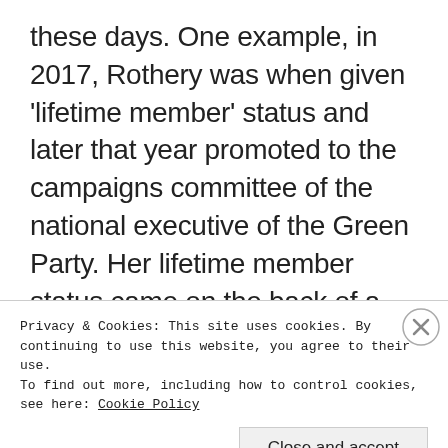these days. One example, in 2017, Rothery was when given 'lifetime member' status and later that year promoted to the campaigns committee of the national executive of the Green Party. Her lifetime member status came on the back of a late 2016 High Court case, that, to this day, no one except Cuadrilla and the judge know the final details of because no one was allowed to witness proceedings. Before that court case all the controlled opposition organisations and media were
Privacy & Cookies: This site uses cookies. By continuing to use this website, you agree to their use.
To find out more, including how to control cookies, see here: Cookie Policy
Close and accept
WORDPRESS.COM